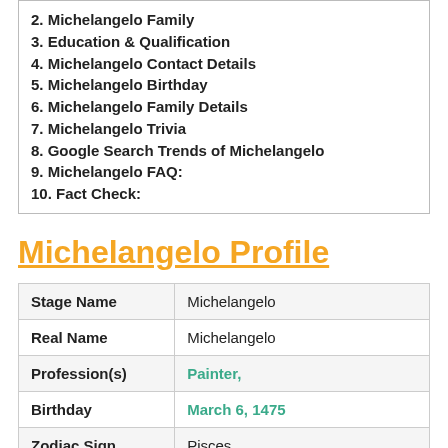2. Michelangelo Family
3. Education & Qualification
4. Michelangelo Contact Details
5. Michelangelo Birthday
6. Michelangelo Family Details
7. Michelangelo Trivia
8. Google Search Trends of Michelangelo
9. Michelangelo FAQ:
10. Fact Check:
Michelangelo Profile
| Field | Value |
| --- | --- |
| Stage Name | Michelangelo |
| Real Name | Michelangelo |
| Profession(s) | Painter, |
| Birthday | March 6, 1475 |
| Zodiac Sign | Pisces |
| Death | Died on (458 years ago) (Age: 89 |